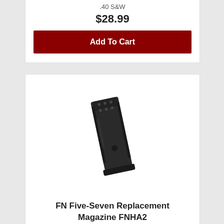.40 S&W
$28.99
Add To Cart
[Figure (photo): FN Five-Seven replacement magazine FNHA2, a black rectangular pistol magazine shown at an angle]
FN Five-Seven Replacement Magazine FNHA2
ProMag
5.7x28mm
$34.99
Add To Cart